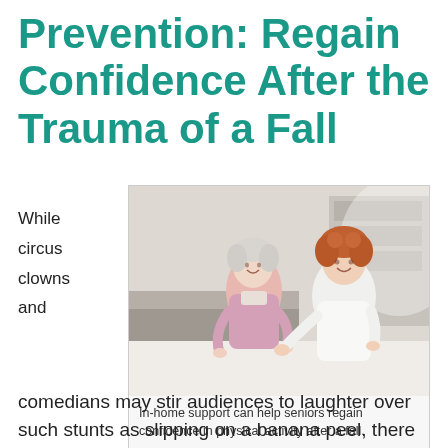Prevention: Regain Confidence After the Trauma of a Fall
While circus clowns and
[Figure (photo): A younger woman with curly red hair (caregiver in white uniform) assists an older woman with short white hair (wearing a pink sweater) who is standing and smiling. Indoor setting with furniture in background.]
In-home support can help seniors regain confidence in physical activity after a fall.
comedians may stir audiences to laughter over such stunts as slipping on a banana peel, there